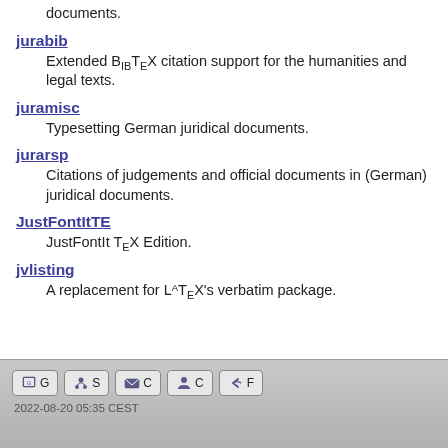documents.
jurabib — Extended BibTeX citation support for the humanities and legal texts.
juramisc — Typesetting German juridical documents.
jurarsp — Citations of judgements and official documents in (German) juridical documents.
JustFontItTE — JustFontIt TeX Edition.
jvlisting — A replacement for LaTeX's verbatim package.
2022-08-20 05:35 CEST